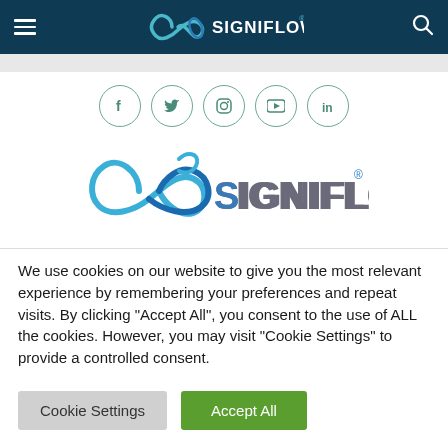SigniFlow navigation header with menu icon, SigniFlow logo, and search icon
[Figure (logo): SigniFlow logo in header — infinity-loop icon with SIGNIFLOW text in white]
[Figure (infographic): Social media icons row: Facebook, Twitter, Instagram, YouTube, LinkedIn — circular outlined icons in teal/green]
[Figure (logo): SigniFlow main logo — blue infinity-loop with SIGNIFLOW text in gray/blue and registered trademark symbol]
We use cookies on our website to give you the most relevant experience by remembering your preferences and repeat visits. By clicking "Accept All", you consent to the use of ALL the cookies. However, you may visit "Cookie Settings" to provide a controlled consent.
Cookie Settings | Accept All